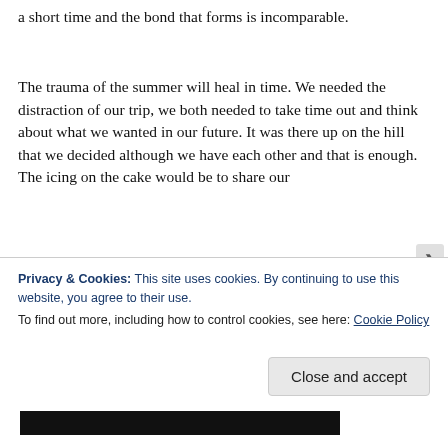a short time and the bond that forms is incomparable.
The trauma of the summer will heal in time. We needed the distraction of our trip, we both needed to take time out and think about what we wanted in our future. It was there up on the hill that we decided although we have each other and that is enough. The icing on the cake would be to share our
Privacy & Cookies: This site uses cookies. By continuing to use this website, you agree to their use.
To find out more, including how to control cookies, see here: Cookie Policy
Close and accept